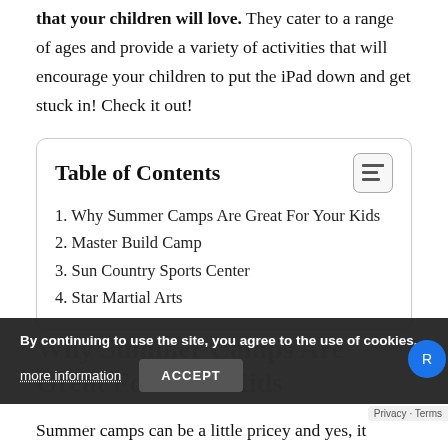that your children will love. They cater to a range of ages and provide a variety of activities that will encourage your children to put the iPad down and get stuck in! Check it out!
1. Why Summer Camps Are Great For Your Kids
2. Master Build Camp
3. Sun Country Sports Center
4. Star Martial Arts
Why Summer Camps Are Great For Your Kids
By continuing to use the site, you agree to the use of cookies.
Summer camps can be a little pricey and yes, it